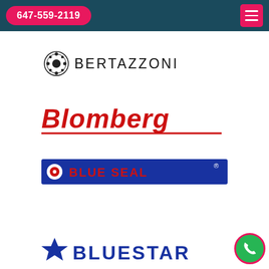647-559-2119
[Figure (logo): Bertazzoni brand logo with ornate circular emblem and BERTAZZONI text]
[Figure (logo): Blomberg brand logo in bold red italic text with red underline]
[Figure (logo): Blue Seal brand logo in red text on blue rectangular background with registered trademark]
[Figure (logo): BlueStar brand logo in blue with star icon, partially visible at bottom]